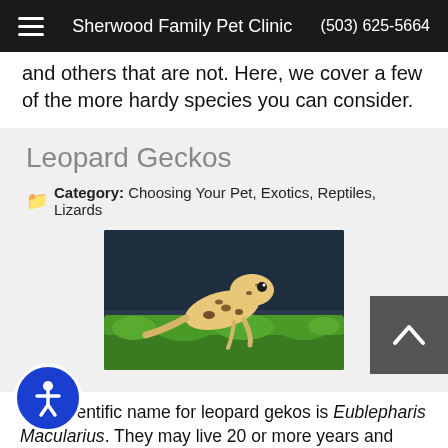Sherwood Family Pet Clinic  (503) 625-5664
and others that are not. Here, we cover a few of the more hardy species you can consider.
Leopard Geckos
Category: Choosing Your Pet, Exotics, Reptiles, Lizards
[Figure (photo): A leopard gecko with yellow-white skin and black spots sitting on bright green moss against a dark background.]
The scientific name for leopard gekos is Eublepharis Macularius. They may live 20 or more years and grow to be approximately 8-10 inches long. Their common coloring is yellow and white with black spots (hatchlings start out striped, and gradually change to